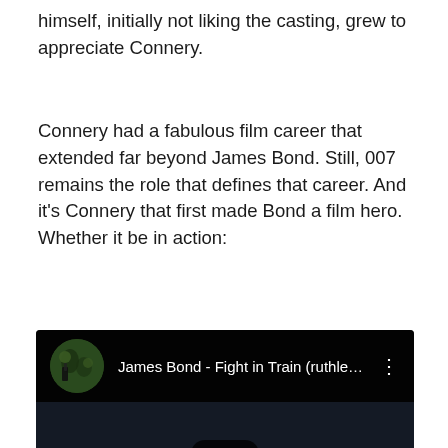himself, initially not liking the casting, grew to appreciate Connery.
Connery had a fabulous film career that extended far beyond James Bond. Still, 007 remains the role that defines that career. And it's Connery that first made Bond a film hero. Whether it be in action:
[Figure (screenshot): YouTube video embed showing 'James Bond - Fight in Train (ruthles...' with a play button overlay on a dark video frame]